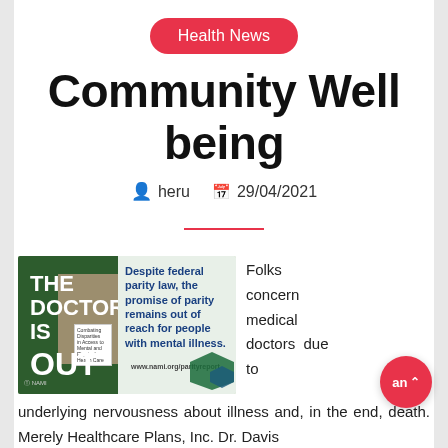Health News
Community Well being
heru   29/04/2021
[Figure (photo): Image showing 'The Doctor Is Out' text with a woman's face and text reading: Despite federal parity law, the promise of parity remains out of reach for people with mental illness. www.nami.org/parityreport]
Folks concern medical doctors due to an underlying nervousness about illness and, in the end, death. Merely Healthcare Plans, Inc. Dr. Davis